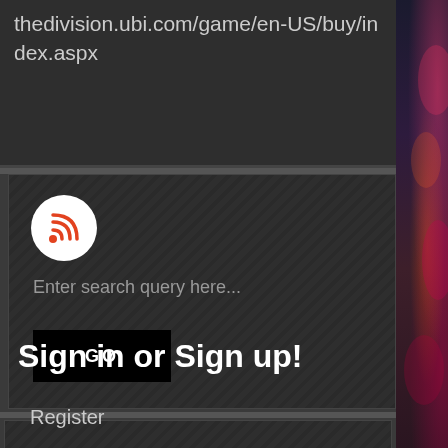thedivision.ubi.com/game/en-US/buy/index.aspx
[Figure (logo): RSS feed icon - white circle with orange RSS signal icon]
Enter search query here...
GO
Sign in or Sign up!
Register